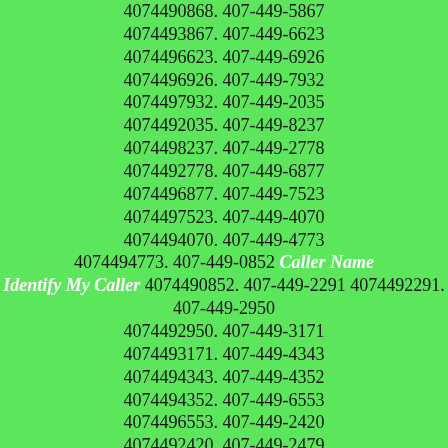4074490868. 407-449-5867 4074493867. 407-449-6623 4074496623. 407-449-6926 4074496926. 407-449-7932 4074497932. 407-449-2035 4074492035. 407-449-8237 4074498237. 407-449-2778 4074492778. 407-449-6877 4074496877. 407-449-7523 4074497523. 407-449-4070 4074494070. 407-449-4773 4074494773. 407-449-0852 Caller Name Identify My Caller 4074490852. 407-449-2291 4074492291. 407-449-2950 4074492950. 407-449-3171 4074493171. 407-449-4343 4074494343. 407-449-4352 4074494352. 407-449-6553 4074496553. 407-449-2420 4074492420. 407-449-2479 4074492479. 407-449-9456 4074499456. 407-449-8024 4074498024. 407-449-5001 4074495001. 407-449-6317 4074496317. 407-449-7625 4074497625. 407-449-2550